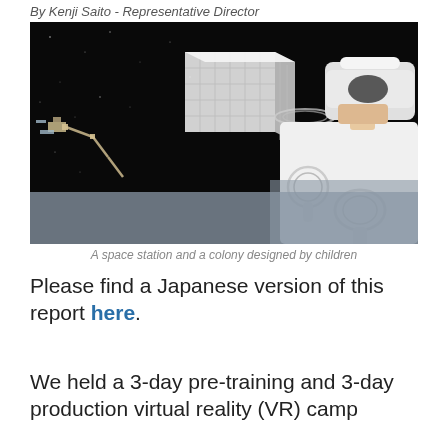By Kenji Saito - Representative Director
[Figure (photo): A child wearing a VR headset and holding VR controllers, with a virtual space station and colony visible in the background]
A space station and a colony designed by children
Please find a Japanese version of this report here.
We held a 3-day pre-training and 3-day production virtual reality (VR) camp